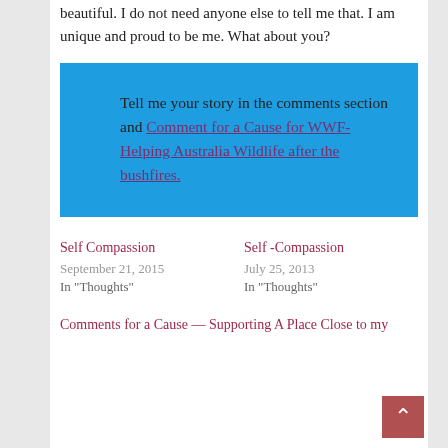beautiful. I do not need anyone else to tell me that. I am unique and proud to be me. What about you?
Tell me your story in the comments section and Comment for a Cause for WWF- Helping Australia Wildlife after the bushfires.
Self Compassion
September 21, 2015
In "Thoughts"
Self -Compassion
July 25, 2013
In "Thoughts"
Comments for a Cause — Supporting A Place Close to my